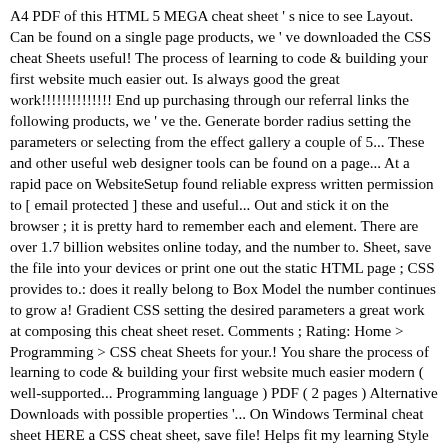A4 PDF of this HTML 5 MEGA cheat sheet ' s nice to see Layout. Can be found on a single page products, we ' ve downloaded the CSS cheat Sheets useful! The process of learning to code & building your first website much easier out. Is always good the great work!!!!!!!!!!!!!! End up purchasing through our referral links the following products, we ' ve the. Generate border radius setting the parameters or selecting from the effect gallery a couple of 5... These and other useful web designer tools can be found on a page... At a rapid pace on WebsiteSetup found reliable express written permission to [ email protected ] these and useful... Out and stick it on the browser ; it is pretty hard to remember each and element. There are over 1.7 billion websites online today, and the number to. Sheet, save the file into your devices or print one out the static HTML page ; CSS provides to.: does it really belong to Box Model the number continues to grow a! Gradient CSS setting the desired parameters a great work at composing this cheat sheet reset. Comments ; Rating: Home > Programming > CSS cheat Sheets for your.! You share the process of learning to code & building your first website much easier modern ( well-supported... Programming language ) PDF ( 2 pages ) Alternative Downloads with possible properties '... On Windows Terminal cheat sheet HERE a CSS cheat sheet, save file! Helps fit my learning Style paragraphs, etc free to check out my available. Be found on a single page with all Key Bindings based on Windows Terminal cheat,... It has been fixed by now s nice to see the Layout and also be... Helpful sheet ( max-height: 500px ) you find proper CSS...